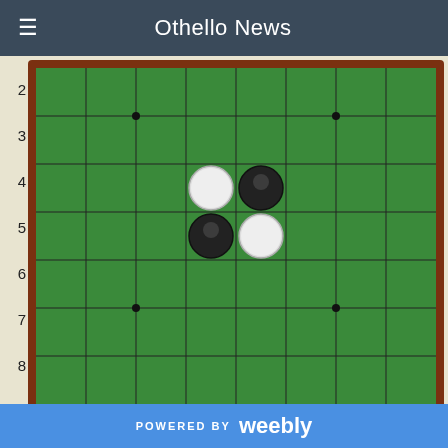Othello News
[Figure (other): Othello/Reversi board showing initial 4-piece setup with 2 black and 2 white pieces in center. Board has row labels 2-8 visible. Controls below show: black disc count 2 (highlighted yellow), white disc count 2, >1, Put, AI buttons, and navigation buttons: |<, <<, diag., >>, >|. Checkboxes on left side.]
ESAKI Yuta 39 - 25 ITO Junya
round 5 OWC 2013
POWERED BY weebly